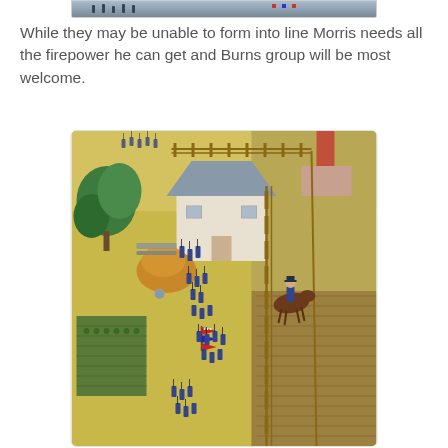[Figure (photo): Partial top edge of a previous wargame tabletop photo cropped at the top of the page]
While they may be unable to form into line Morris needs all the firepower he can get and Burns group will be most welcome.
[Figure (photo): Overhead view of a miniature wargame tabletop scene depicting a Civil War battle. The scene shows a yellow-green terrain board with a small gray-roofed building/church in the center, trees on the left, haystacks, fences on the right and background, a garden plot in the lower-left, and numerous blue-uniformed Union infantry miniatures advancing in formation. An American flag/banner is visible among the troops. A mounted cavalry figure is on the right side. Brown thatched terrain and rail fences line the edges.]